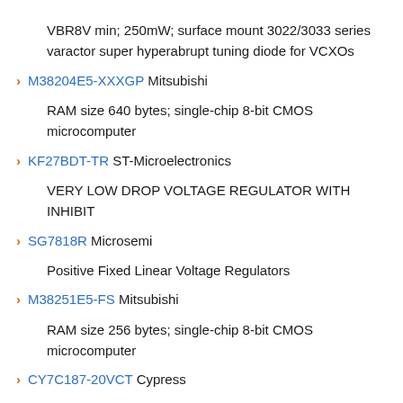VBR8V min; 250mW; surface mount 3022/3033 series varactor super hyperabrupt tuning diode for VCXOs
M38204E5-XXXGP Mitsubishi
RAM size 640 bytes; single-chip 8-bit CMOS microcomputer
KF27BDT-TR ST-Microelectronics
VERY LOW DROP VOLTAGE REGULATOR WITH INHIBIT
SG7818R Microsemi
Positive Fixed Linear Voltage Regulators
M38251E5-FS Mitsubishi
RAM size 256 bytes; single-chip 8-bit CMOS microcomputer
CY7C187-20VCT Cypress
64K x 1 Static RAM
N80C151SA Intel
High-performance CHMOS microcontroller. 256 bytes RAM, 16 MHz